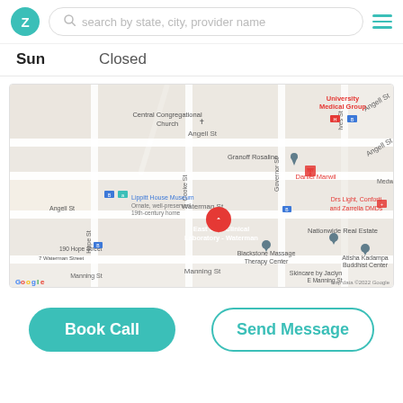Z | search by state, city, provider name | menu
Sun   Closed
[Figure (map): Google Maps view showing East Side Clinical Laboratory - Waterman location (marker A) in Providence, RI area, with surrounding landmarks including Central Congregational Church, Lippitt House Museum, Granoff Rosaline, Nationwide Real Estate, University Medical Group, Daniel Marwil, Drs Light Conforti and Zarrella DMDs, Atisha Kadampa Buddhist Center, Skincare by Jaclyn, Blackstone Massage Therapy Center. Streets visible: Angell St, Waterman St, Manning St, Cooke St, Governor St, Hope St. Map data ©2022 Google.]
Book Call
Send Message